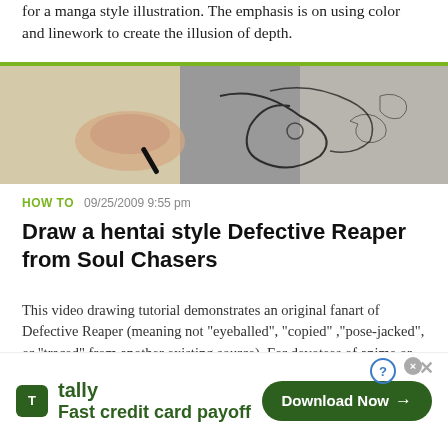for a manga style illustration. The emphasis is on using color and linework to create the illusion of depth.
[Figure (photo): A hand drawing manga/anime style artwork with a black pen on white paper, showing intricate ink linework of a stylized character with floral elements.]
HOW TO   09/25/2009 9:55 pm
Draw a hentai style Defective Reaper from Soul Chasers
This video drawing tutorial demonstrates an original fanart of Defective Reaper (meaning not "eyeballed", "copied" ,"pose-jacked", or "traced" from another existing source). For devotees of anime or hentai style, or those looking to get inspired by the Japanese manga type tech ...more
[Figure (photo): Partial view of a second article thumbnail image with warm reddish-brown tones.]
[Figure (other): Advertisement banner for Tally app - Fast credit card payoff, with Download Now button.]